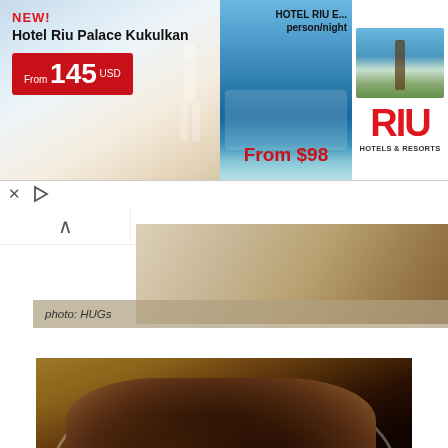[Figure (screenshot): Advertisement banner for RIU Hotels & Resorts featuring Hotel Riu Palace Kukulkan with price 'From 145 USD', a pool image with 'HOTEL RIU E... person/night From $98', and the RIU Hotels & Resorts logo on white background. Below the ad are close/play controls.]
[Figure (photo): Partial photo of what appears to be a wooden cutting board or food preparation surface, with watermark text 'photo: HUGs' on left and '© 2016 RecipeLand.com' on right.]
photo: HUGs    © 2016 RecipeLand.com
[Figure (photo): Photo of dark chocolate brown baked goods (appears to be chocolate cake or brownies) piled on a white plate, on a tan/yellow surface. Very dark brown color with some visible nuts or seeds.]
Apple Coffee Cake or Cinnamon Monkey Bread
Banana Nut Pancakes